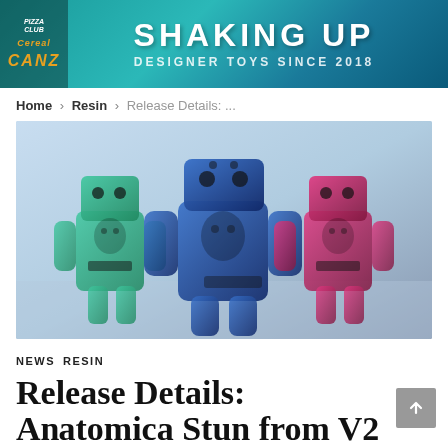[Figure (logo): Website header banner with teal/blue gradient background. Left side has dark panel with logo marks. Center text reads 'SHAKING UP' in large white bold letters and 'DESIGNER TOYS SINCE 2018' below.]
Home › Resin › Release Details: ...
[Figure (photo): Three translucent designer toy figures (robot/skull character) in green, blue, and pink/red colorways, standing against a light blue background.]
NEWS
RESIN
Release Details: Anatomica Stun from V2...